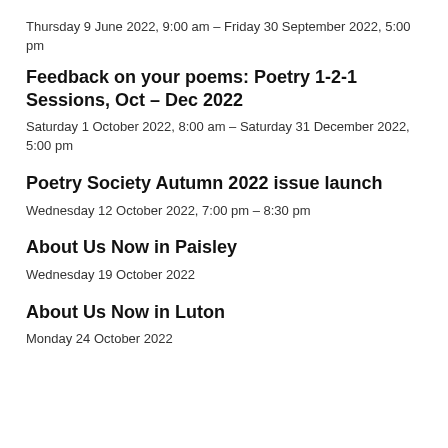Thursday 9 June 2022, 9:00 am – Friday 30 September 2022, 5:00 pm
Feedback on your poems: Poetry 1-2-1 Sessions, Oct – Dec 2022
Saturday 1 October 2022, 8:00 am – Saturday 31 December 2022, 5:00 pm
Poetry Society Autumn 2022 issue launch
Wednesday 12 October 2022, 7:00 pm – 8:30 pm
About Us Now in Paisley
Wednesday 19 October 2022
About Us Now in Luton
Monday 24 October 2022